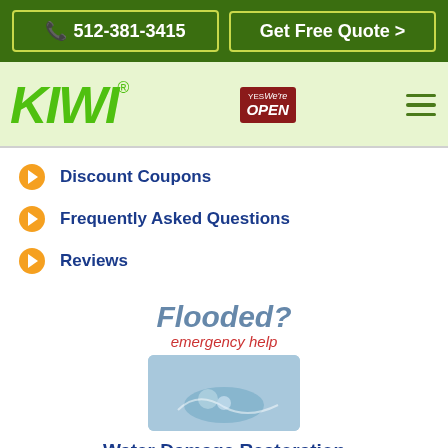512-381-3415
Get Free Quote >
[Figure (logo): KIWI green italic logo with registered trademark symbol]
[Figure (illustration): YES We're OPEN badge in red]
Discount Coupons
Frequently Asked Questions
Reviews
[Figure (photo): Flooded? emergency help banner with water splash photo]
Water Damage Restoration KIWI is a Professional Company
Phones